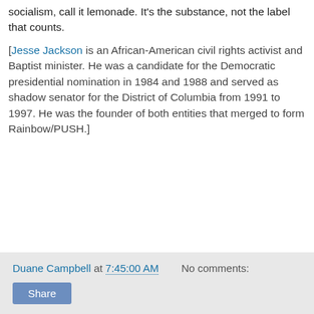socialism, call it lemonade. It's the substance, not the label that counts.
[Jesse Jackson is an African-American civil rights activist and Baptist minister. He was a candidate for the Democratic presidential nomination in 1984 and 1988 and served as shadow senator for the District of Columbia from 1991 to 1997. He was the founder of both entities that merged to form Rainbow/PUSH.]
-->
Duane Campbell at 7:45:00 AM   No comments:   Share